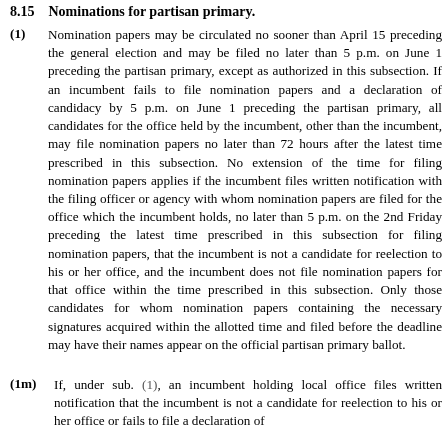8.15   Nominations for partisan primary.
(1) Nomination papers may be circulated no sooner than April 15 preceding the general election and may be filed no later than 5 p.m. on June 1 preceding the partisan primary, except as authorized in this subsection. If an incumbent fails to file nomination papers and a declaration of candidacy by 5 p.m. on June 1 preceding the partisan primary, all candidates for the office held by the incumbent, other than the incumbent, may file nomination papers no later than 72 hours after the latest time prescribed in this subsection. No extension of the time for filing nomination papers applies if the incumbent files written notification with the filing officer or agency with whom nomination papers are filed for the office which the incumbent holds, no later than 5 p.m. on the 2nd Friday preceding the latest time prescribed in this subsection for filing nomination papers, that the incumbent is not a candidate for reelection to his or her office, and the incumbent does not file nomination papers for that office within the time prescribed in this subsection. Only those candidates for whom nomination papers containing the necessary signatures acquired within the allotted time and filed before the deadline may have their names appear on the official partisan primary ballot.
(1m) If, under sub. (1), an incumbent holding local office files written notification that the incumbent is not a candidate for reelection to his or her office or fails to file a declaration of...